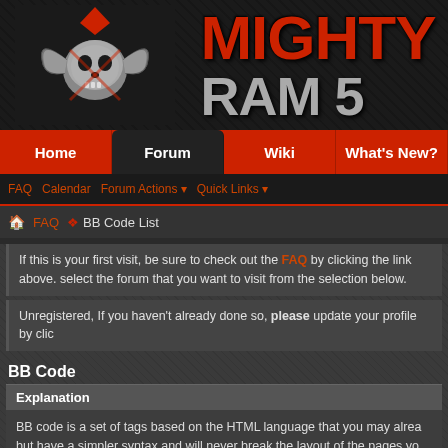[Figure (logo): Mighty Ram 5 forum logo with ram skull icon in silver/red on dark carbon fiber background, with text MIGHTY RAM 5 in red and grey]
Home | Forum | Wiki | What's New?
FAQ  Calendar  Forum Actions  Quick Links
FAQ ❖ BB Code List
If this is your first visit, be sure to check out the FAQ by clicking the link above. select the forum that you want to visit from the selection below.
Unregistered, If you haven't already done so, please update your profile by clic
BB Code
Explanation
BB code is a set of tags based on the HTML language that you may alrea but have a simpler syntax and will never break the layout of the pages yo should check the forum rules when you post a new message.
Below is a list of the BB code tags you can use to format your messages
BB Code List